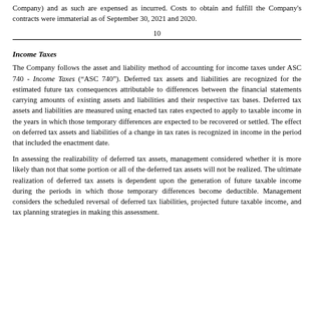Company) and as such are expensed as incurred. Costs to obtain and fulfill the Company's contracts were immaterial as of September 30, 2021 and 2020.
10
Income Taxes
The Company follows the asset and liability method of accounting for income taxes under ASC 740 - Income Taxes (“ASC 740”). Deferred tax assets and liabilities are recognized for the estimated future tax consequences attributable to differences between the financial statements carrying amounts of existing assets and liabilities and their respective tax bases. Deferred tax assets and liabilities are measured using enacted tax rates expected to apply to taxable income in the years in which those temporary differences are expected to be recovered or settled. The effect on deferred tax assets and liabilities of a change in tax rates is recognized in income in the period that included the enactment date.
In assessing the realizability of deferred tax assets, management considered whether it is more likely than not that some portion or all of the deferred tax assets will not be realized. The ultimate realization of deferred tax assets is dependent upon the generation of future taxable income during the periods in which those temporary differences become deductible. Management considers the scheduled reversal of deferred tax liabilities, projected future taxable income, and tax planning strategies in making this assessment.